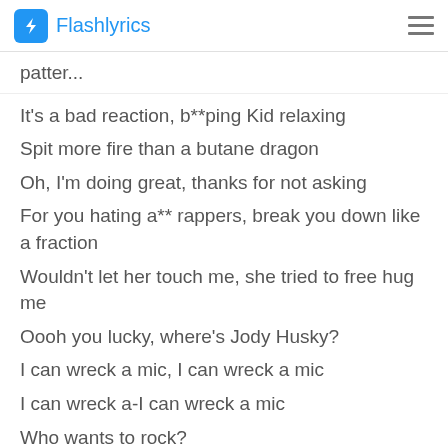Flashlyrics
patter...
It's a bad reaction, b**ping Kid relaxing
Spit more fire than a butane dragon
Oh, I'm doing great, thanks for not asking
For you hating a** rappers, break you down like a fraction
Wouldn't let her touch me, she tried to free hug me
Oooh you lucky, where's Jody Husky?
I can wreck a mic, I can wreck a mic
I can wreck a-I can wreck a mic
Who wants to rock?
[Hook]